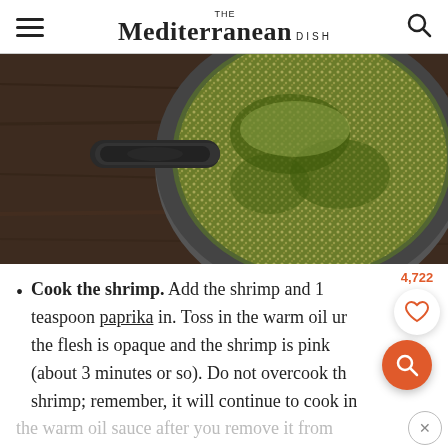THE Mediterranean DISH
[Figure (photo): Overhead view of a skillet/frying pan on a dark wooden surface containing green herb-spiced sesame seeds or quinoa sautéing in oil]
Cook the shrimp. Add the shrimp and 1 teaspoon paprika in. Toss in the warm oil until the flesh is opaque and the shrimp is pink (about 3 minutes or so). Do not overcook the shrimp; remember, it will continue to cook in
the warm oil sauce after you remove it from